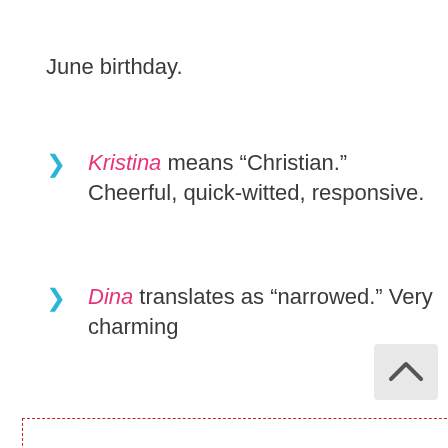June birthday.
Kristina means "Christian." Cheerful, quick-witted, responsive.
Dina translates as "narrowed." Very charming and affectionate, has excellent organizational
[Figure (screenshot): Overlay popup with dashed red border containing navigation links: Health, Recipes, Fashion. A close (X) button appears at top-right of popup. A scroll-up arrow button appears at bottom-right.]
ns "protector." Fair, knows ndship, she has “masculine”
eaglet". Purposeful d hostess, achieves success industries.
not change. Active,